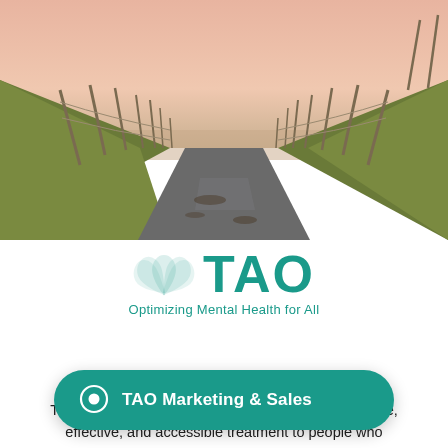[Figure (photo): A rural dirt/paved narrow path flanked by wooden fence posts and grassy banks, photographed at sunset with a warm pink sky.]
[Figure (logo): TAO logo: lotus flower icon in teal on the left, large bold teal letters TAO on the right, with tagline 'Optimizing Mental Health for All' below.]
Your Path to Balance
TAO Connect, Inc. is committed to bringing affordable, effective, and accessible treatment to people who